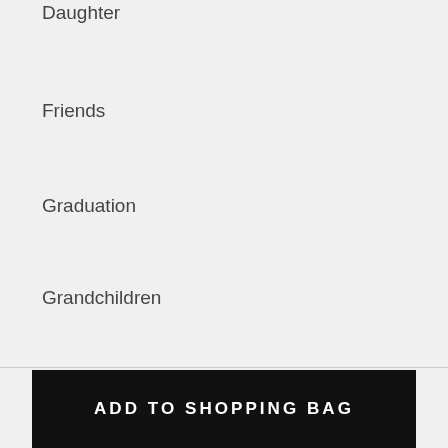Daughter
Friends
Graduation
Grandchildren
Sister / Brother
Wife
All Products
ADD TO SHOPPING BAG